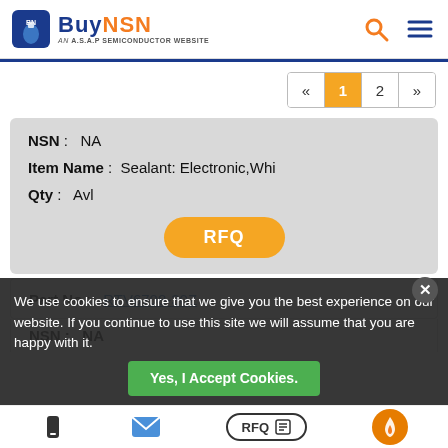[Figure (logo): BuyNSN logo - AN A.S.A.P SEMICONDUCTOR WEBSITE]
[Figure (infographic): Pagination control showing « 1 2 »]
| NSN : | NA |
| Item Name : | Sealant: Electronic,Whi |
| Qty : | Avl |
[Figure (other): RFQ orange button]
| Part No : | RTV6708-30Z |
| NSN : | NA |
We use cookies to ensure that we give you the best experience on our website. If you continue to use this site we will assume that you are happy with it.